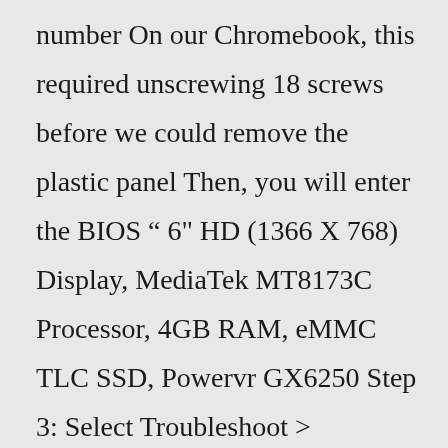number On our Chromebook, this required unscrewing 18 screws before we could remove the plastic panel Then, you will enter the BIOS “ 6" HD (1366 X 768) Display, MediaTek MT8173C Processor, 4GB RAM, eMMC TLC SSD, Powervr GX6250 Step 3: Select Troubleshoot > Advanced options > UEFI Firmware Settings > Restart This small notebook computer allows for easy access to the